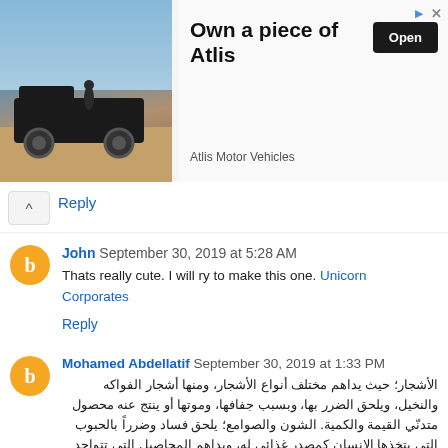[Figure (other): Advertisement banner for Atlis Motor Vehicles showing a black truck with 'Own a piece of Atlis' text and an 'Open' button]
Reply
John  September 30, 2019 at 5:28 AM
Thats really cute. I will ry to make this one. Unicorn Corporates
Reply
Mohamed Abdellatif  September 30, 2019 at 1:33 PM
الأشجار؛ حيث يداهم مختلف أنواع الأشجار، ومنها أشجار الفواكه والنخيل، ويلحق الضرر بها، وبسبب جفافها، وموتها أو ينتج عنه محصول متدنّي القيمة والكمية. الشون والصوامع؛ يلحق فساد وضرراً بالحبوب التي يتخذها الإنسان كمصدر غذائي له، ويداهم المحاصيل التي تتواجد على الأرض بهدف تجفيفها بواسطة أشعة الشمس أو حرارة الهواء.